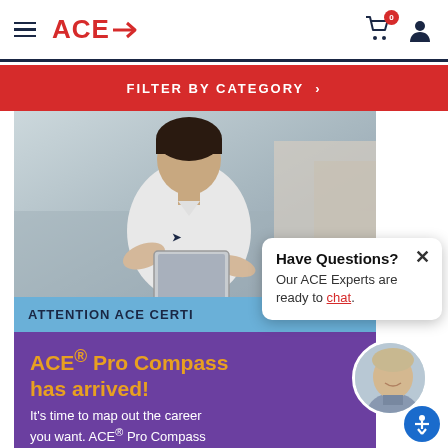ACE→  [hamburger menu] [cart 0] [user icon]
FILTER BY CATEGORY ›
[Figure (photo): Woman in white t-shirt holding a tablet in a gym setting]
ATTENTION ACE CERTI...
ACE® Pro Compass has arrived!
It's time to map out the career you want. ACE® Pro Compass
[Figure (photo): Headshot of a smiling man in a blue shirt]
Have Questions?
Our ACE Experts are ready to chat.